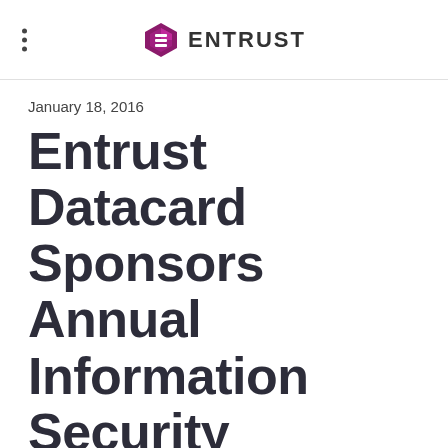ENTRUST
January 18, 2016
Entrust Datacard Sponsors Annual Information Security Summit 2015 with Data Security Council of India